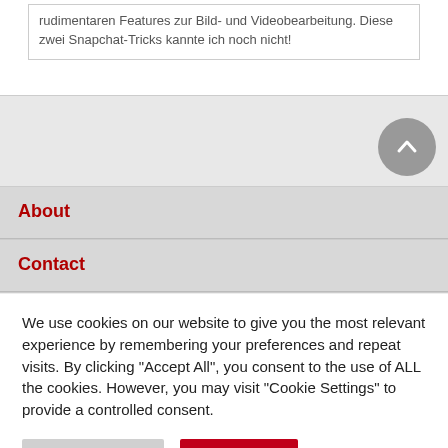rudimentaren Features zur Bild- und Videobearbeitung. Diese zwei Snapchat-Tricks kannte ich noch nicht!
About
Contact
We use cookies on our website to give you the most relevant experience by remembering your preferences and repeat visits. By clicking "Accept All", you consent to the use of ALL the cookies. However, you may visit "Cookie Settings" to provide a controlled consent.
Cookie Settings | Accept All